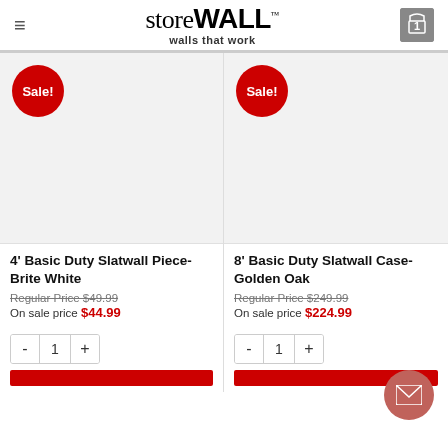storeWALL — walls that work
[Figure (screenshot): Product image placeholder for 4' Basic Duty Slatwall Piece-Brite White with Sale badge]
4' Basic Duty Slatwall Piece-Brite White
Regular Price $49.99
On sale price $44.99
[Figure (screenshot): Product image placeholder for 8' Basic Duty Slatwall Case-Golden Oak with Sale badge]
8' Basic Duty Slatwall Case-Golden Oak
Regular Price $249.99
On sale price $224.99